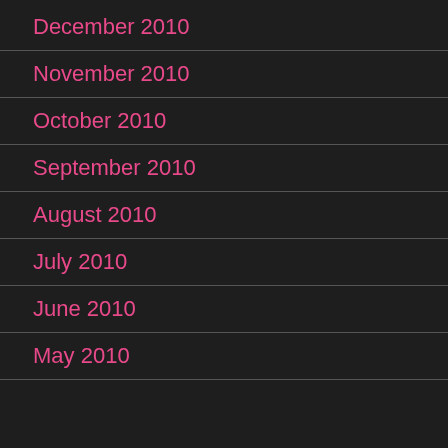December 2010
November 2010
October 2010
September 2010
August 2010
July 2010
June 2010
May 2010